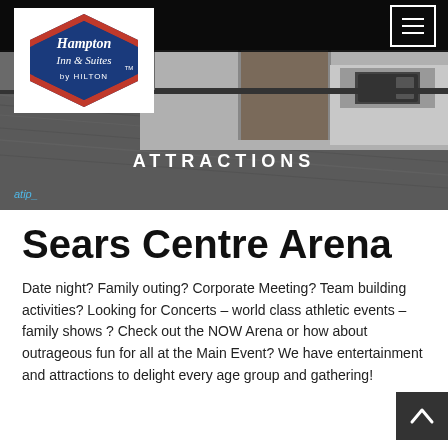[Figure (photo): Hampton Inn & Suites by Hilton hotel room interior with dark hardwood floors, kitchen area with wooden cabinet and microwave visible in background. Dark header bar at top with hamburger menu icon.]
ATTRACTIONS
Sears Centre Arena
Date night? Family outing? Corporate Meeting? Team building activities? Looking for Concerts – world class athletic events – family shows ? Check out the NOW Arena or how about outrageous fun for all at the Main Event? We have entertainment and attractions to delight every age group and gathering!